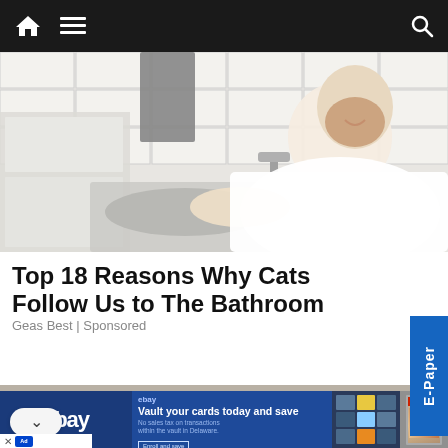Navigation bar with home icon, menu icon, and search icon
[Figure (photo): Man in white shirt leaning over a white bathroom sink with white subway tiles on wall in background]
Top 18 Reasons Why Cats Follow Us to The Bathroom
Geas Best | Sponsored
[Figure (photo): Partial view of a building with ornate cornice details, second article preview image]
[Figure (infographic): eBay advertisement: Vault your cards today and save. No sales tax on transactions within the vault in Delaware. Shows Pokemon card collection and a graded wrestling card.]